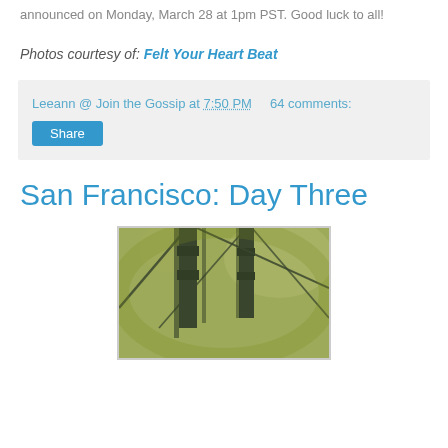announced on Monday, March 28 at 1pm PST. Good luck to all!
Photos courtesy of: Felt Your Heart Beat
Leeann @ Join the Gossip at 7:50 PM    64 comments:
San Francisco: Day Three
[Figure (photo): Looking up at the Golden Gate Bridge tower, tinted with a yellow-green vintage filter effect]